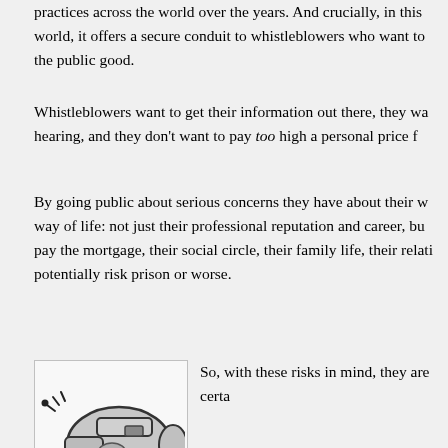practices across the world over the years. And crucially, in this world, it offers a secure conduit to whistleblowers who want to the public good.
Whistleblowers want to get their information out there, they wa hearing, and they don’t want to pay too high a personal price f
By going public about serious concerns they have about their w way of life: not just their professional reputation and career, bu pay the mortgage, their social circle, their family life, their relati potentially risk prison or worse.
[Figure (illustration): A cartoon drawing of a whistle with sound lines indicating it is blowing.]
So, with these risks in mind, they are certa
whistle that will offer a degree of protection and allow them to r lives.  In the old days, this meant trying to identify an honoura organisation that had the clout to protect its source.  While not and becomes increasingly so in this era of endemic electroni